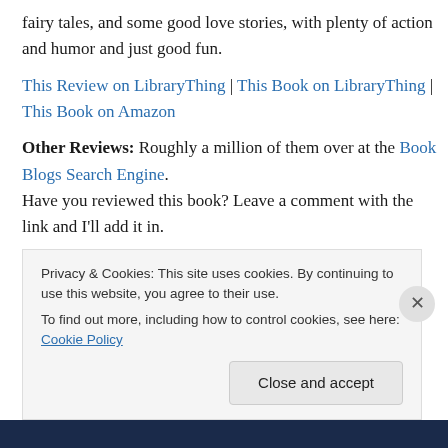fairy tales, and some good love stories, with plenty of action and humor and just good fun.
This Review on LibraryThing | This Book on LibraryThing | This Book on Amazon
Other Reviews: Roughly a million of them over at the Book Blogs Search Engine. Have you reviewed this book? Leave a comment with the link and I'll add it in.
First Line: Winter's toes had become ice cubes.
Privacy & Cookies: This site uses cookies. By continuing to use this website, you agree to their use. To find out more, including how to control cookies, see here: Cookie Policy